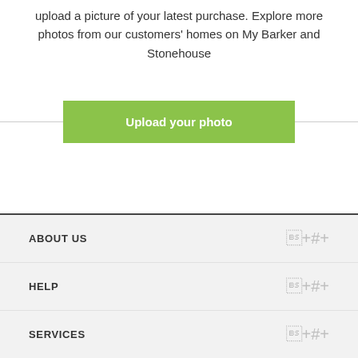upload a picture of your latest purchase. Explore more photos from our customers' homes on My Barker and Stonehouse
[Figure (other): Green button labeled 'Upload your photo' with horizontal lines on either side]
ABOUT US
HELP
SERVICES